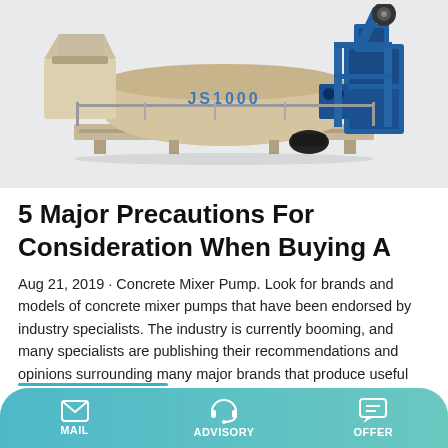[Figure (photo): JS1000 concrete mixer machine, beige/cream colored body with blue metal framework and components, industrial mixing equipment]
5 Major Precautions For Consideration When Buying A
Aug 21, 2019 · Concrete Mixer Pump. Look for brands and models of concrete mixer pumps that have been endorsed by industry specialists. The industry is currently booming, and many specialists are publishing their recommendations and opinions surrounding many major brands that produce useful and essential tools for the sector.
MAIL   ADVISORY   OFFER